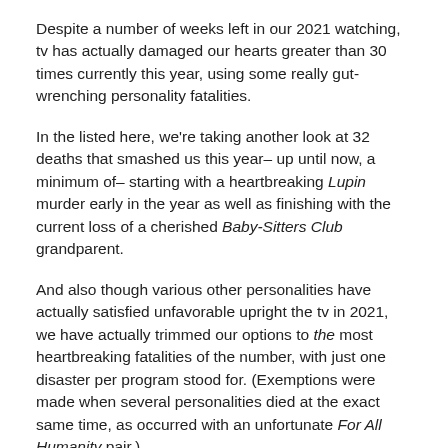Despite a number of weeks left in our 2021 watching, tv has actually damaged our hearts greater than 30 times currently this year, using some really gut-wrenching personality fatalities.
In the listed here, we're taking another look at 32 deaths that smashed us this year– up until now, a minimum of– starting with a heartbreaking Lupin murder early in the year as well as finishing with the current loss of a cherished Baby-Sitters Club grandparent.
And also though various other personalities have actually satisfied unfavorable upright the tv in 2021, we have actually trimmed our options to the most heartbreaking fatalities of the number, with just one disaster per program stood for. (Exemptions were made when several personalities died at the exact same time, as occurred with an unfortunate For All Humanity pair.)